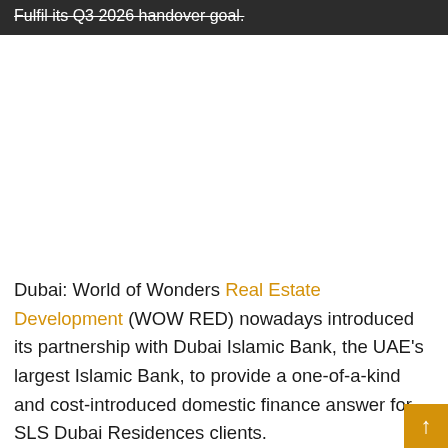Fulfil its Q3 2026 handover goal.
Dubai: World of Wonders Real Estate Development (WOW RED) nowadays introduced its partnership with Dubai Islamic Bank, the UAE's largest Islamic Bank, to provide a one-of-a-kind and cost-introduced domestic finance answer for SLS Dubai Residences clients.